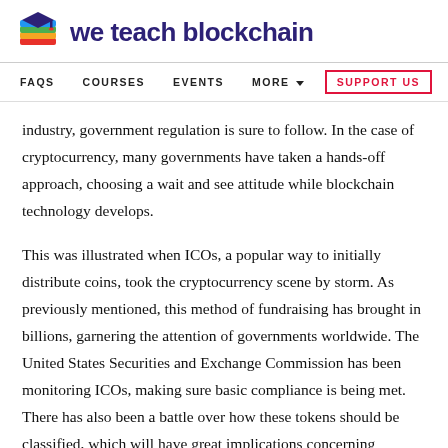we teach blockchain
FAQS   COURSES   EVENTS   MORE   SUPPORT US
industry, government regulation is sure to follow. In the case of cryptocurrency, many governments have taken a hands-off approach, choosing a wait and see attitude while blockchain technology develops.
This was illustrated when ICOs, a popular way to initially distribute coins, took the cryptocurrency scene by storm. As previously mentioned, this method of fundraising has brought in billions, garnering the attention of governments worldwide. The United States Securities and Exchange Commission has been monitoring ICOs, making sure basic compliance is being met. There has also been a battle over how these tokens should be classified, which will have great implications concerning taxation.